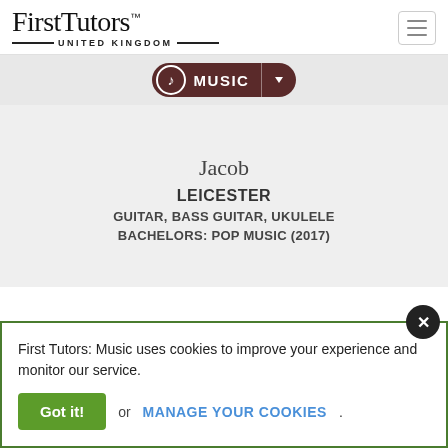[Figure (logo): FirstTutors United Kingdom logo with serif wordmark and horizontal lines flanking 'UNITED KINGDOM' text]
[Figure (infographic): Music category pill-shaped button with music note icon, MUSIC label, and dropdown arrow, on a light grey bar]
Jacob
LEICESTER
GUITAR, BASS GUITAR, UKULELE
BACHELORS: POP MUSIC (2017)
First Tutors: Music uses cookies to improve your experience and monitor our service.
Got it! or MANAGE YOUR COOKIES.